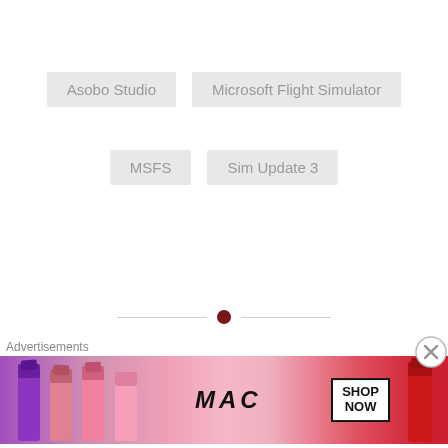Asobo Studio
Microsoft Flight Simulator
MSFS
Sim Update 3
[Figure (other): Decorative divider with horizontal lines and a dark red circle in the center]
PREVIOUS POST
FlyingIron's Spitfire IX for MSFS is now available
NEXT POST
Check out Haluter's Skin downloader for IL-2:
Advertisements
[Figure (photo): MAC Cosmetics advertisement showing lipsticks in purple, pink, and red colors with MAC logo and SHOP NOW button]